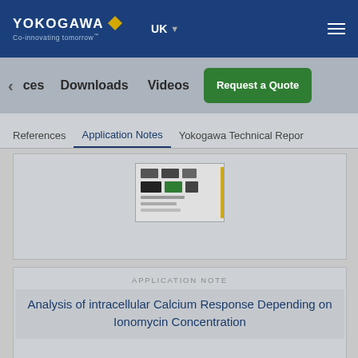YOKOGAWA Co-innovating tomorrow | UK | Menu
< ces | Downloads | Videos | Request a Quote
References | Application Notes | Yokogawa Technical Report
[Figure (screenshot): Thumbnail preview of an application note document with colored blocks]
APPLICATION NOTE
Analysis of intracellular Calcium Response Depending on Ionomycin Concentration